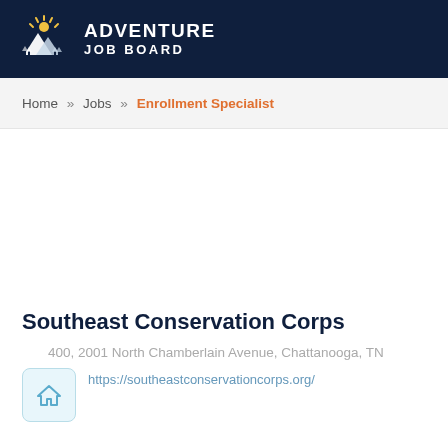[Figure (logo): Adventure Job Board logo with mountain/sun icon and white text on dark navy background]
Home » Jobs » Enrollment Specialist
Southeast Conservation Corps
400, 2001 North Chamberlain Avenue, Chattanooga, TN
https://southeastconservationcorps.org/